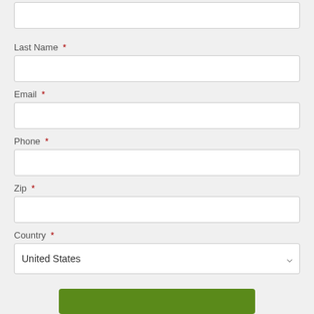First Name *
Last Name *
Email *
Phone *
Zip *
Country *